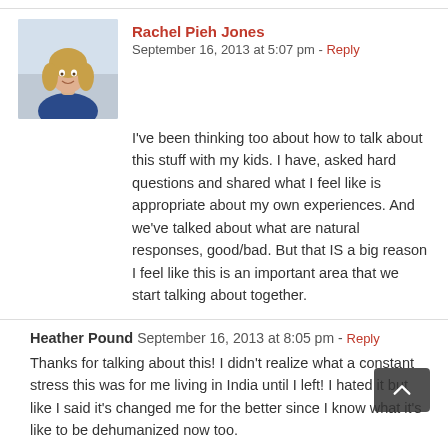Rachel Pieh Jones  September 16, 2013 at 5:07 pm - Reply
[Figure (photo): Profile photo of Rachel Pieh Jones, a woman with blonde hair wearing a dark blue top]
I've been thinking too about how to talk about this stuff with my kids. I have, asked hard questions and shared what I feel like is appropriate about my own experiences. And we've talked about what are natural responses, good/bad. But that IS a big reason I feel like this is an important area that we start talking about together.
Heather Pound  September 16, 2013 at 8:05 pm - Reply
Thanks for talking about this! I didn't realize what a constant stress this was for me living in India until I left! I hated it but like I said it's changed me for the better since I know what it's like to be dehumanized now too.